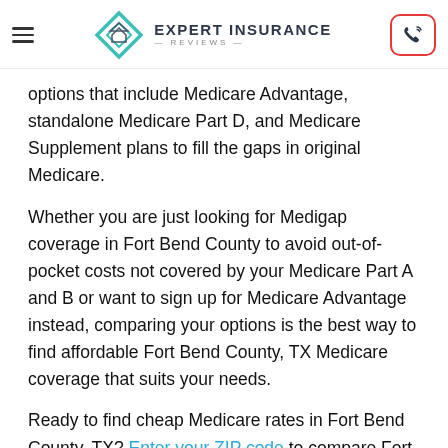Expert Insurance Reviews
options that include Medicare Advantage, standalone Medicare Part D, and Medicare Supplement plans to fill the gaps in original Medicare.
Whether you are just looking for Medigap coverage in Fort Bend County to avoid out-of-pocket costs not covered by your Medicare Part A and B or want to sign up for Medicare Advantage instead, comparing your options is the best way to find affordable Fort Bend County, TX Medicare coverage that suits your needs.
Ready to find cheap Medicare rates in Fort Bend County, TX? Enter your ZIP code to compare Fort Bend County, Texas Medicare plans today.